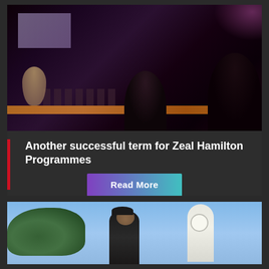[Figure (photo): Dark theatre/auditorium scene with silhouetted audience members watching a performance on stage, with a screen visible in the background]
Another successful term for Zeal Hamilton Programmes
Read More
[Figure (photo): Outdoor photo of a person standing near a white clock tower with trees and blue sky in the background]